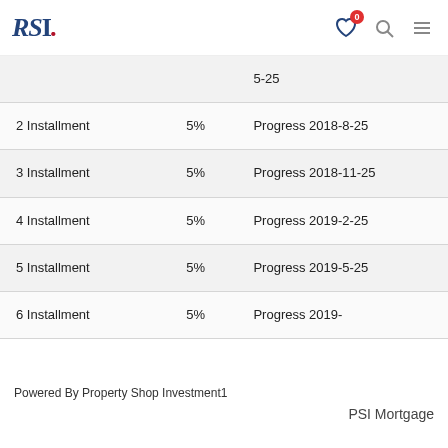RSI. [nav icons: heart with badge 0, search, menu]
| Installment | Rate | Date |
| --- | --- | --- |
|  |  | 5-25 |
| 2 Installment | 5% | Progress 2018-8-25 |
| 3 Installment | 5% | Progress 2018-11-25 |
| 4 Installment | 5% | Progress 2019-2-25 |
| 5 Installment | 5% | Progress 2019-5-25 |
| 6 Installment | 5% | Progress 2019- |
Powered By Property Shop Investment1
PSI Mortgage